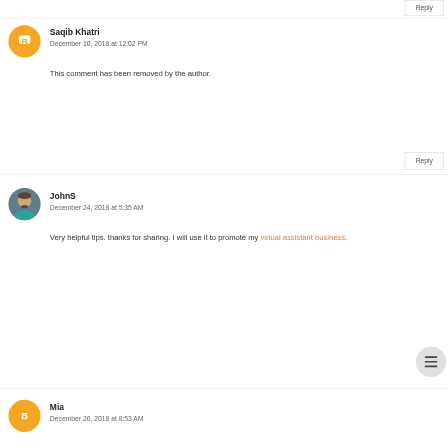Reply
Saqib Khatri
December 10, 2018 at 12:02 PM
This comment has been removed by the author.
Reply
JohnS
December 24, 2018 at 5:35 AM
Very helpful tips. thanks for sharing. I will use it to promote my virtual assistant business.
Mia
December 26, 2018 at 8:53 AM